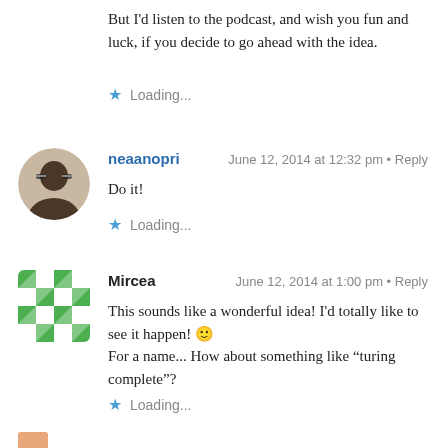But I'd listen to the podcast, and wish you fun and luck, if you decide to go ahead with the idea.
Loading...
neaanopri — June 12, 2014 at 12:32 pm · Reply
Do it!
Loading...
Mircea — June 12, 2014 at 1:00 pm · Reply
This sounds like a wonderful idea! I'd totally like to see it happen! 🙂 For a name... How about something like "turing complete"?
Loading...